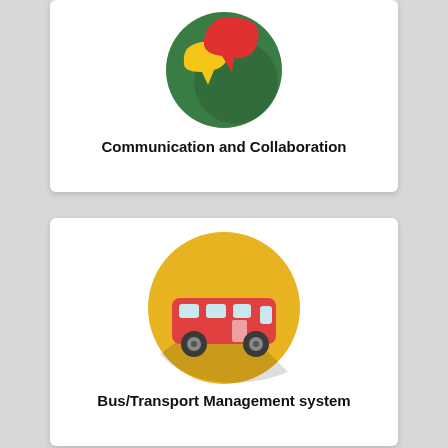[Figure (illustration): Flat-style icon: green circle with yellow and red speech bubble shapes, representing Communication and Collaboration]
Communication and Collaboration
[Figure (illustration): Flat-style icon: yellow/golden circle with a red bus icon and shadow, representing Bus/Transport Management system]
Bus/Transport Management system